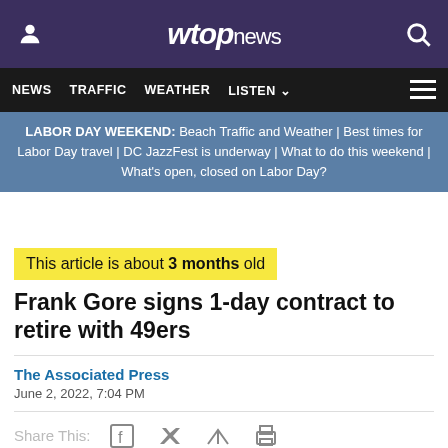wtop news
NEWS | TRAFFIC | WEATHER | LISTEN
LABOR DAY WEEKEND: Beach Traffic and Weather | Best times for Labor Day travel | DC JazzFest is underway | What to do this weekend | What's open, closed on Labor Day?
This article is about 3 months old
Frank Gore signs 1-day contract to retire with 49ers
The Associated Press
June 2, 2022, 7:04 PM
Share This: